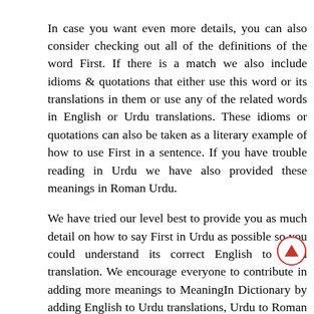In case you want even more details, you can also consider checking out all of the definitions of the word First. If there is a match we also include idioms & quotations that either use this word or its translations in them or use any of the related words in English or Urdu translations. These idioms or quotations can also be taken as a literary example of how to use First in a sentence. If you have trouble reading in Urdu we have also provided these meanings in Roman Urdu.
We have tried our level best to provide you as much detail on how to say First in Urdu as possible so you could understand its correct English to Urdu translation. We encourage everyone to contribute in adding more meanings to MeaningIn Dictionary by adding English to Urdu translations, Urdu to Roman Urdu transliterations and Urdu to English